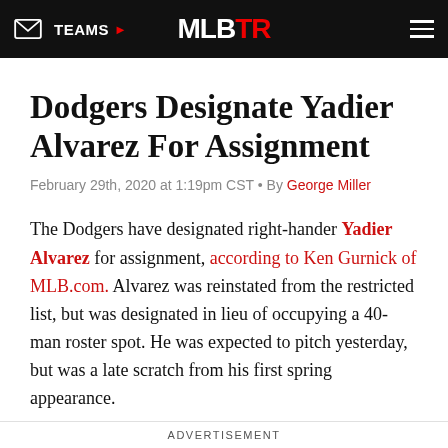TEAMS | MLBTR
Dodgers Designate Yadier Alvarez For Assignment
February 29th, 2020 at 1:19pm CST • By George Miller
The Dodgers have designated right-hander Yadier Alvarez for assignment, according to Ken Gurnick of MLB.com. Alvarez was reinstated from the restricted list, but was designated in lieu of occupying a 40-man roster spot. He was expected to pitch yesterday, but was a late scratch from his first spring appearance.
The Dodgers awarded Alvarez with a $16MM bonus when he signed with the organization as an international amateur in July 2015. He quickly made a name for himself as a consensus top-
ADVERTISEMENT